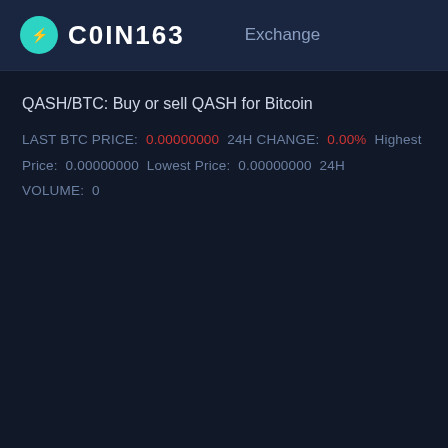COIN163   Exchange
QASH/BTC: Buy or sell QASH for Bitcoin
LAST BTC PRICE: 0.00000000  24H CHANGE: 0.00%  Highest Price: 0.00000000  Lowest Price: 0.00000000  24H VOLUME: 0